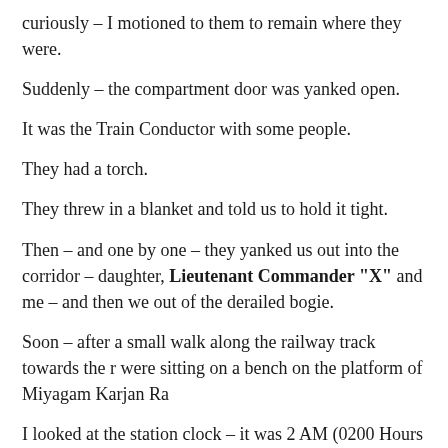curiously – I motioned to them to remain where they were.
Suddenly – the compartment door was yanked open.
It was the Train Conductor with some people.
They had a torch.
They threw in a blanket and told us to hold it tight.
Then – and one by one – they yanked us out into the corridor – daughter, Lieutenant Commander "X" and me – and then we out of the derailed bogie.
Soon – after a small walk along the railway track towards the r were sitting on a bench on the platform of Miyagam Karjan Ra
I looked at the station clock – it was 2 AM (0200 Hours on 27 precise).
Talking to people – we came to know that it had been a freak a
Some wagons of a goods train coming from the opposite direct seconds before our speeding train passed it – and our engine ha wagons and gone off the rails, derailing the first few bogies off